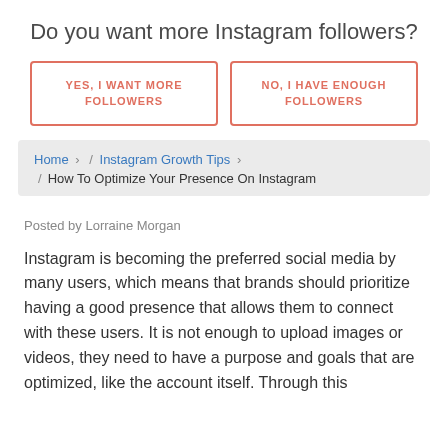Do you want more Instagram followers?
YES, I WANT MORE FOLLOWERS
NO, I HAVE ENOUGH FOLLOWERS
Home › / Instagram Growth Tips › / How To Optimize Your Presence On Instagram
Posted by Lorraine Morgan
Instagram is becoming the preferred social media by many users, which means that brands should prioritize having a good presence that allows them to connect with these users. It is not enough to upload images or videos, they need to have a purpose and goals that are optimized, like the account itself. Through this